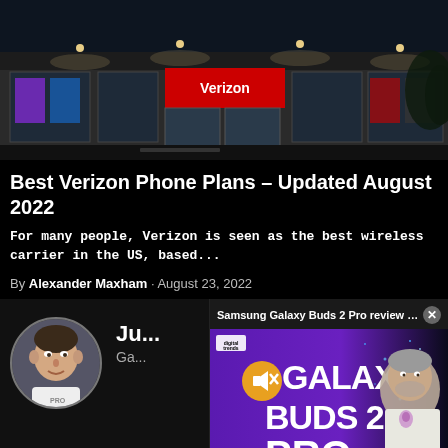[Figure (photo): Exterior of a Verizon retail store at night/dusk with illuminated signage and glass storefront]
Best Verizon Phone Plans – Updated August 2022
For many people, Verizon is seen as the best wireless carrier in the US, based...
By Alexander Maxham · August 23, 2022
[Figure (photo): Circular avatar photo of a young man in a white t-shirt]
Ju... Ga...
Justin has written for Andr... the site's Games Editor foc...
[Figure (screenshot): Video popup overlay showing Samsung Galaxy Buds 2 Pro review from Digital Trends with a presenter holding a small purple earbud, overlaid with large text GALAXY BUDS 2 PRO in white and purple on dark background, with mute button icon and close X button]